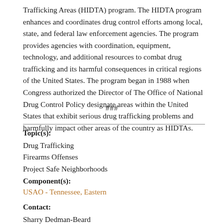Trafficking Areas (HIDTA) program. The HIDTA program enhances and coordinates drug control efforts among local, state, and federal law enforcement agencies. The program provides agencies with coordination, equipment, technology, and additional resources to combat drug trafficking and its harmful consequences in critical regions of the United States. The program began in 1988 when Congress authorized the Director of The Office of National Drug Control Policy designate areas within the United States that exhibit serious drug trafficking problems and harmfully impact other areas of the country as HIDTAs.
###
Topic(s):
Drug Trafficking
Firearms Offenses
Project Safe Neighborhoods
Component(s):
USAO - Tennessee, Eastern
Contact:
Sharry Dedman-Beard
Public Information Officer